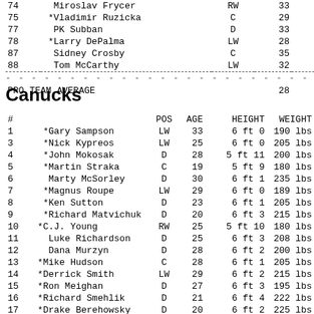| # | Name | POS | AGE | HEIGHT | WEIGHT |
| --- | --- | --- | --- | --- | --- |
| 74 | Miroslav Frycer | RW | 33 | 6 ft 0 | 200 lbs |
| 75 | *Vladimir Ruzicka | C | 29 | 6 ft 3 | 215 lbs |
| 77 | PK Subban | D | 33 | 6 ft 0 | 210 lbs |
| 78 | *Larry DePalma | LW | 28 | 6 ft 0 | 195 lbs |
| 87 | Sidney Crosby | C | 35 | 5 ft 11 | 200 lbs |
| 88 | Tom McCarthy | LW | 32 | 6 ft 2 | 200 lbs |
| PRO TEAM AVERAGE |  |  | 28 | 6 ft 0 | 199 lbs |
Canucks
| # | Name | POS | AGE | HEIGHT | WEIGHT |
| --- | --- | --- | --- | --- | --- |
| 1 | *Gary Sampson | LW | 33 | 6 ft 0 | 190 lbs |
| 3 | *Nick Kypreos | LW | 25 | 6 ft 0 | 205 lbs |
| 4 | *John Mokosak | D | 28 | 5 ft 11 | 200 lbs |
| 5 | *Martin Straka | C | 19 | 5 ft 9 | 180 lbs |
| 6 | Marty McSorley | D | 30 | 6 ft 1 | 235 lbs |
| 7 | *Magnus Roupe | LW | 29 | 6 ft 0 | 189 lbs |
| 8 | *Ken Sutton | D | 23 | 6 ft 1 | 205 lbs |
| 9 | *Richard Matvichuk | D | 20 | 6 ft 3 | 215 lbs |
| 10 | *C.J. Young | RW | 25 | 5 ft 10 | 180 lbs |
| 11 | Luke Richardson | D | 25 | 6 ft 3 | 208 lbs |
| 12 | Dana Murzyn | D | 28 | 6 ft 2 | 200 lbs |
| 13 | *Mike Hudson | C | 28 | 6 ft 1 | 205 lbs |
| 14 | *Derrick Smith | LW | 29 | 6 ft 2 | 215 lbs |
| 15 | *Ron Meighan | D | 27 | 6 ft 3 | 195 lbs |
| 16 | *Richard Smehlik | D | 21 | 6 ft 4 | 222 lbs |
| 17 | *Drake Berehowsky | D | 20 | 6 ft 2 | 225 lbs |